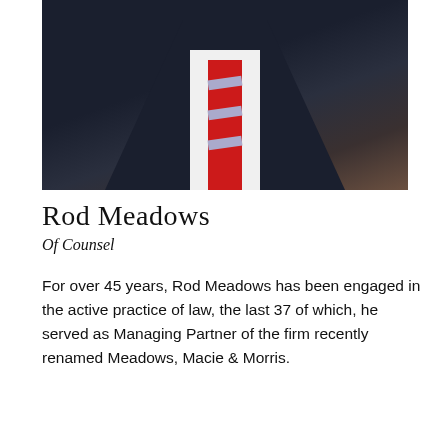[Figure (photo): Professional headshot/portrait of Rod Meadows, a man in a dark navy suit with white shirt and red striped tie, photographed from chest up against a dark background.]
Rod Meadows
Of Counsel
For over 45 years, Rod Meadows has been engaged in the active practice of law, the last 37 of which, he served as Managing Partner of the firm recently renamed Meadows, Macie & Morris.